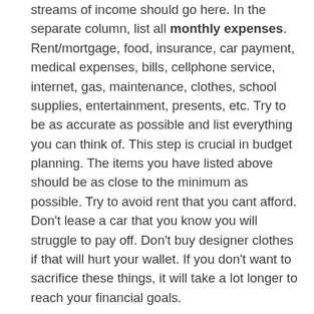streams of income should go here. In the separate column, list all monthly expenses. Rent/mortgage, food, insurance, car payment, medical expenses, bills, cellphone service, internet, gas, maintenance, clothes, school supplies, entertainment, presents, etc. Try to be as accurate as possible and list everything you can think of. This step is crucial in budget planning. The items you have listed above should be as close to the minimum as possible. Try to avoid rent that you cant afford. Don't lease a car that you know you will struggle to pay off. Don't buy designer clothes if that will hurt your wallet. If you don't want to sacrifice these things, it will take a lot longer to reach your financial goals.